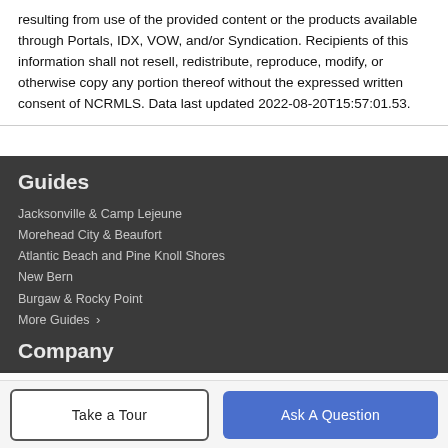resulting from use of the provided content or the products available through Portals, IDX, VOW, and/or Syndication. Recipients of this information shall not resell, redistribute, reproduce, modify, or otherwise copy any portion thereof without the expressed written consent of NCRMLS. Data last updated 2022-08-20T15:57:01.53.
Guides
Jacksonville & Camp Lejeune
Morehead City & Beaufort
Atlantic Beach and Pine Knoll Shores
New Bern
Burgaw & Rocky Point
More Guides ›
Company
Take a Tour
Ask A Question